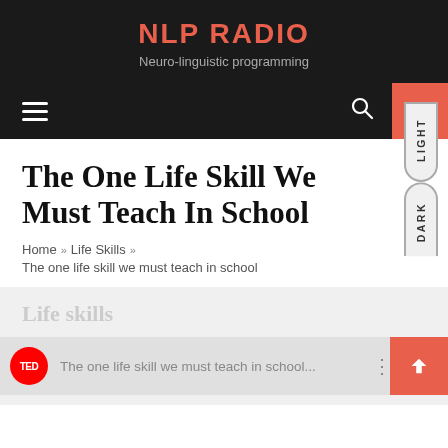NLP RADIO
Neuro-linguistic programming
[Figure (screenshot): Navigation bar with hamburger menu, search icon, and info button on dark background]
The One Life Skill We Must Teach In School
Home » Life Skills » The one life skill we must teach in school
Life skills
[Figure (screenshot): Video thumbnail with TED logo and text: The one life skill we must teach in school...]